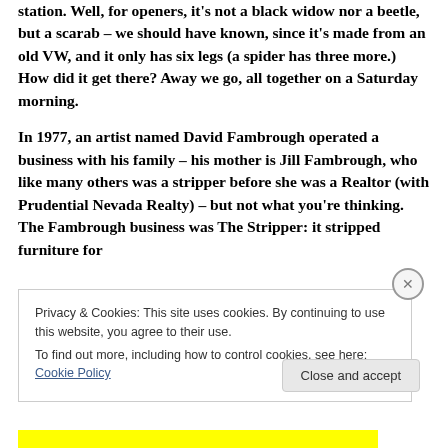station. Well, for openers, it's not a black widow nor a beetle, but a scarab – we should have known, since it's made from an old VW, and it only has six legs (a spider has three more.) How did it get there? Away we go, all together on a Saturday morning.
In 1977, an artist named David Fambrough operated a business with his family – his mother is Jill Fambrough, who like many others was a stripper before she was a Realtor (with Prudential Nevada Realty) – but not what you're thinking. The Fambrough business was The Stripper: it stripped furniture for
Privacy & Cookies: This site uses cookies. By continuing to use this website, you agree to their use.
To find out more, including how to control cookies, see here: Cookie Policy